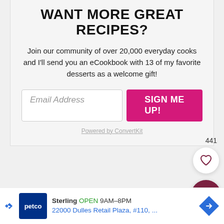WANT MORE GREAT RECIPES?
Join our community of over 20,000 everyday cooks and I'll send you an eCookbook with 13 of my favorite desserts as a welcome gift!
Email Address | SIGN ME UP!
Powered by ConvertKit
441
Sterling OPEN 9AM–8PM 22000 Dulles Retail Plaza, #110, ...